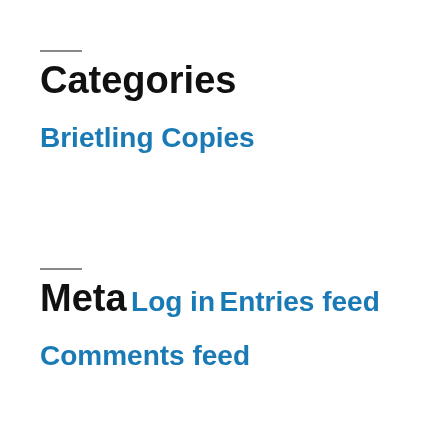Categories
Brietling Copies
Meta
Log in
Entries feed
Comments feed